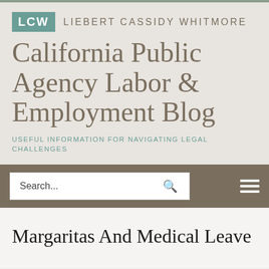LCW  Liebert Cassidy Whitmore
California Public Agency Labor & Employment Blog
USEFUL INFORMATION FOR NAVIGATING LEGAL CHALLENGES
Margaritas And Medical Leave